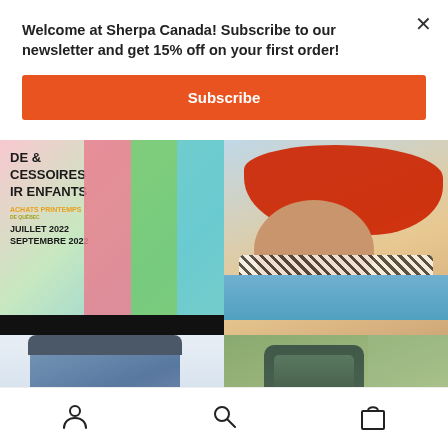Welcome at Sherpa Canada! Subscribe to our newsletter and get 15% off on your first order!
[Figure (screenshot): Orange Subscribe button]
[Figure (photo): Left top: colorful graphic with text DE & CESSOIRES IR ENFANTS ACHATS PRINTEMPS 2022 JUILLET 2022 SEPTEMBRE 2022. Right top: child wearing large red sun hat.]
[Figure (photo): Left bottom: blue insulated bag with PROMO text. Right bottom: person carrying green child carrier backpack outdoors.]
[Figure (screenshot): Bottom navigation bar with account, search, and shopping bag icons]